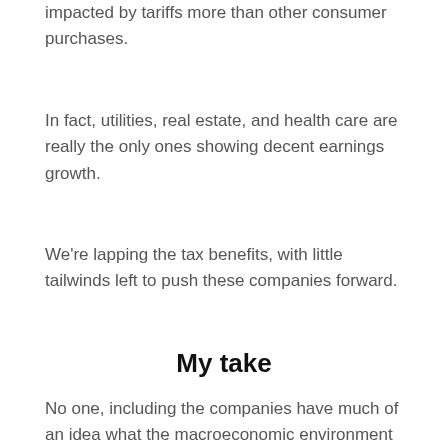impacted by tariffs more than other consumer purchases.
In fact, utilities, real estate, and health care are really the only ones showing decent earnings growth.
We're lapping the tax benefits, with little tailwinds left to push these companies forward.
My take
No one, including the companies have much of an idea what the macroeconomic environment will look like in 2020.